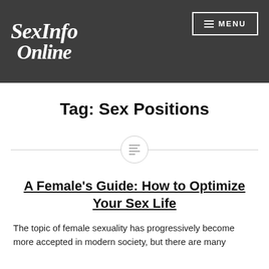SexInfo Online
Tag: Sex Positions
[Figure (other): Horizontal divider with a circle icon containing a lines/text symbol in the center]
A Female's Guide: How to Optimize Your Sex Life
The topic of female sexuality has progressively become more accepted in modern society, but there are many